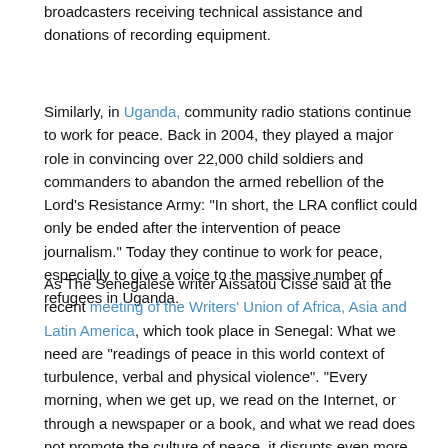broadcasters receiving technical assistance and donations of recording equipment.
Similarly, in Uganda, community radio stations continue to work for peace. Back in 2004, they played a major role in convincing over 22,000 child soldiers and commanders to abandon the armed rebellion of the Lord's Resistance Army: “In short, the LRA conflict could only be ended after the intervention of peace journalism.” Today they continue to work for peace, especially to give a voice to the massive number of refugees in Uganda.
As The Senegalese writer Aissatou Cissé said at the recent meeting of the Writers’ Union of Africa, Asia and Latin America, which took place in Senegal: What we need are “readings of peace in this world context of turbulence, verbal and physical violence”. “Every morning, when we get up, we read on the Internet, or through a newspaper or a book, and what we read does not promote the culture of peace, it disrupts even more and creates zizanie [discord].”